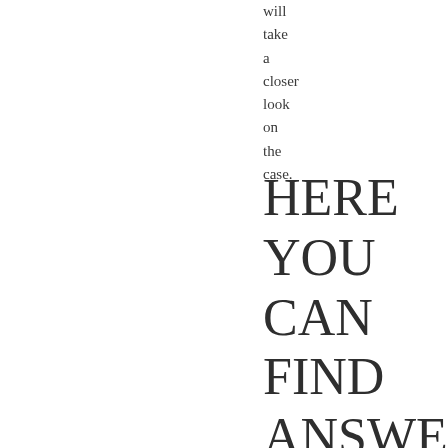will take a closer look on the case.
HERE YOU CAN FIND ANSWERS TO QUESTIONS ABOUT PAYMENT/TAX